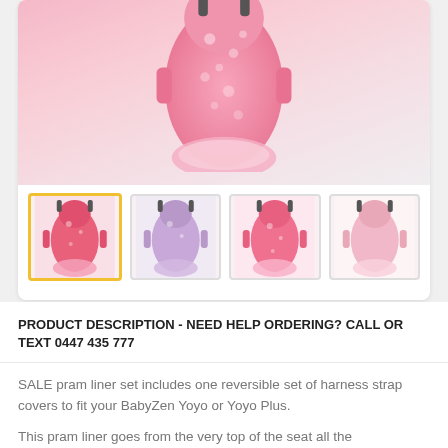[Figure (photo): Close-up photo of a pink floral pram liner seat pad product]
[Figure (photo): Four thumbnail images of pram liner sets in different pink/floral patterns: bright pink floral (selected), soft purple floral, hot pink floral, and light pink plain]
PRODUCT DESCRIPTION - NEED HELP ORDERING? CALL OR TEXT 0447 435 777
SALE pram liner set includes one reversible set of harness strap covers to fit your BabyZen Yoyo or Yoyo Plus.
This pram liner goes from the very top of the seat all the